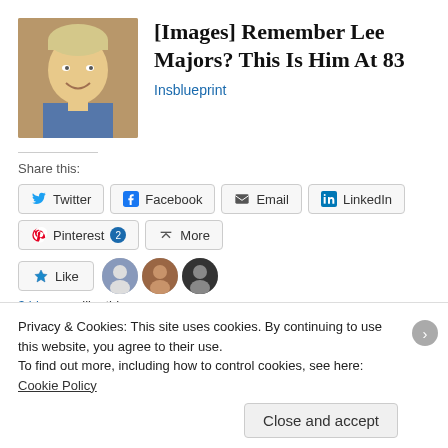[Figure (photo): Headshot photo of an elderly smiling man with white/blonde hair]
[Images] Remember Lee Majors? This Is Him At 83
Insblueprint
Share this:
Twitter  Facebook  Email  LinkedIn  Pinterest 2  More
[Figure (photo): Like button and 3 blogger avatar thumbnails]
3 bloggers like this.
Filed under   Leave a comment
Privacy & Cookies: This site uses cookies. By continuing to use this website, you agree to their use.
To find out more, including how to control cookies, see here: Cookie Policy
Close and accept